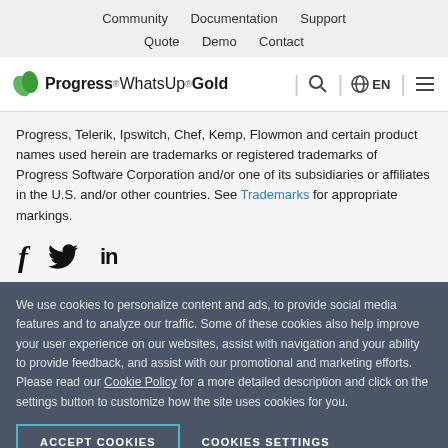Community  Documentation  Support  Quote  Demo  Contact
[Figure (logo): Progress WhatsUp Gold logo with green leaf icon, search icon, globe EN language selector, and hamburger menu icon]
Progress, Telerik, Ipswitch, Chef, Kemp, Flowmon and certain product names used herein are trademarks or registered trademarks of Progress Software Corporation and/or one of its subsidiaries or affiliates in the U.S. and/or other countries. See Trademarks for appropriate markings.
[Figure (illustration): Social media icons: Facebook (f), Twitter (bird), LinkedIn (in)]
We use cookies to personalize content and ads, to provide social media features and to analyze our traffic. Some of these cookies also help improve your user experience on our websites, assist with navigation and your ability to provide feedback, and assist with our promotional and marketing efforts. Please read our Cookie Policy for a more detailed description and click on the settings button to customize how the site uses cookies for you.
ACCEPT COOKIES   COOKIES SETTINGS